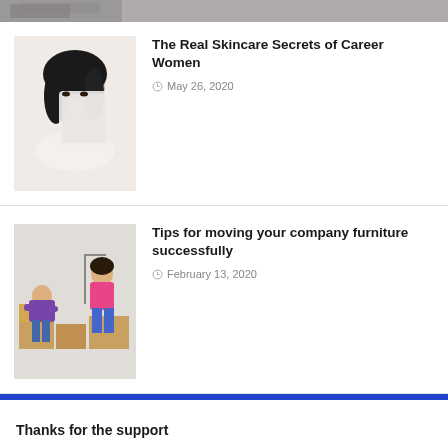[Figure (photo): Partial top strip of a photo visible at top of page - cropped, showing partial image]
[Figure (photo): Woman applying or holding skincare face mask/cloth]
The Real Skincare Secrets of Career Women
May 26, 2020
[Figure (photo): People moving furniture and boxes]
Tips for moving your company furniture successfully
February 13, 2020
Thanks for the support